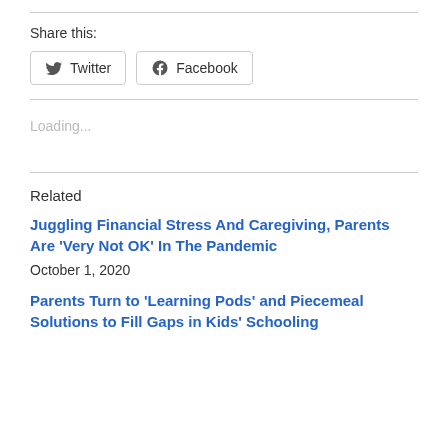Share this:
Twitter  Facebook
Loading...
Related
Juggling Financial Stress And Caregiving, Parents Are 'Very Not OK' In The Pandemic
October 1, 2020
Parents Turn to 'Learning Pods' and Piecemeal Solutions to Fill Gaps in Kids' Schooling